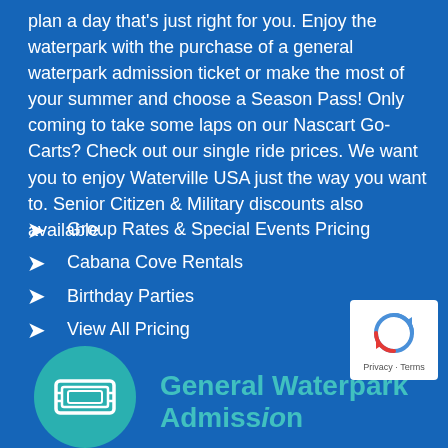plan a day that's just right for you. Enjoy the waterpark with the purchase of a general waterpark admission ticket or make the most of your summer and choose a Season Pass! Only coming to take some laps on our Nascart Go-Carts? Check out our single ride prices. We want you to enjoy Waterville USA just the way you want to. Senior Citizen & Military discounts also available.
Group Rates & Special Events Pricing
Cabana Cove Rentals
Birthday Parties
View All Pricing
[Figure (illustration): Teal circular icon with a ticket symbol, representing General Waterpark Admission]
General Waterpark Admission
[Figure (logo): reCAPTCHA badge with Privacy and Terms links]